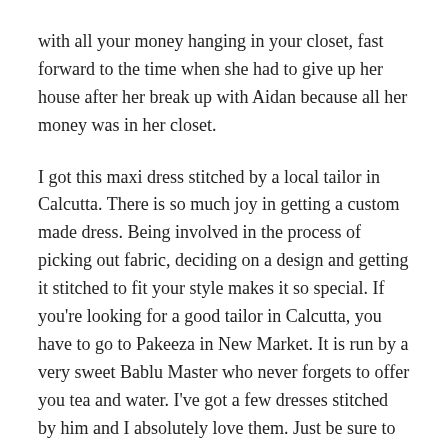with all your money hanging in your closet, fast forward to the time when she had to give up her house after her break up with Aidan because all her money was in her closet.
I got this maxi dress stitched by a local tailor in Calcutta. There is so much joy in getting a custom made dress. Being involved in the process of picking out fabric, deciding on a design and getting it stitched to fit your style makes it so special. If you're looking for a good tailor in Calcutta, you have to go to Pakeeza in New Market. It is run by a very sweet Bablu Master who never forgets to offer you tea and water. I've got a few dresses stitched by him and I absolutely love them. Just be sure to explain your design to him well. He's an old man and can be very forgetful. If you have trouble locating him, I'd be glad to share his number with you. You can message me on Instagram.